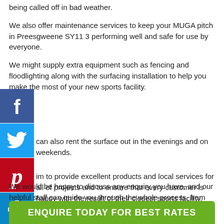being called off in bad weather.
We also offer maintenance services to keep your MUGA pitch in Preesgweene SY11 3 performing well and safe for use by everyone.
We might supply extra equipment such as fencing and floodlighting along with the surfacing installation to help you make the most of your new sports facility.
[Figure (logo): Facebook social share icon - blue square with white F]
[Figure (logo): Twitter social share icon - blue square with white bird]
[Figure (logo): Pinterest social share icon - red square with white P]
[Figure (logo): Share/add social icon - blue square with white plus]
can also rent the surface out in the evenings and on weekends.
im to provide excellent products and local services for all of projects and to ensure that every customer is happy with the result of their closest sports facility.
We would be happy to discuss any enquiry you have, and our helpful staff can guide you through the whole process, from the initial quote to the completion of your MUGA sports facility project.
ENQUIRE TODAY FOR BEST RATES